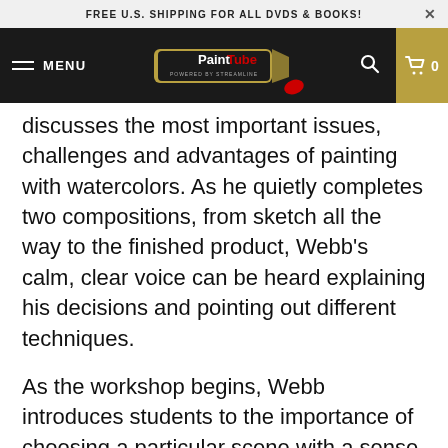FREE U.S. SHIPPING FOR ALL DVDS & BOOKS!
[Figure (logo): PaintTube logo — paint tube graphic with 'PaintTube' text and 'POWERED BY STREAMLINE' below, on dark navbar with MENU hamburger, search icon, and cart showing 0]
discusses the most important issues, challenges and advantages of painting with watercolors. As he quietly completes two compositions, from sketch all the way to the finished product, Webb's calm, clear voice can be heard explaining his decisions and pointing out different techniques.
As the workshop begins, Webb introduces students to the importance of choosing a particular scene with a sense of purpose. As he creates a line drawing that will be the foundation for his juicy watercolor style, Webb